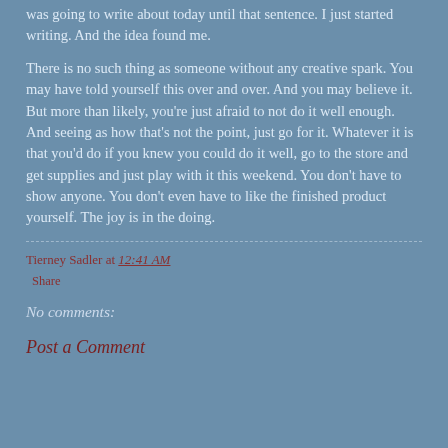was going to write about today until that sentence. I just started writing. And the idea found me.
There is no such thing as someone without any creative spark. You may have told yourself this over and over. And you may believe it. But more than likely, you're just afraid to not do it well enough. And seeing as how that's not the point, just go for it. Whatever it is that you'd do if you knew you could do it well, go to the store and get supplies and just play with it this weekend. You don't have to show anyone. You don't even have to like the finished product yourself. The joy is in the doing.
Tierney Sadler at 12:41 AM
Share
No comments:
Post a Comment